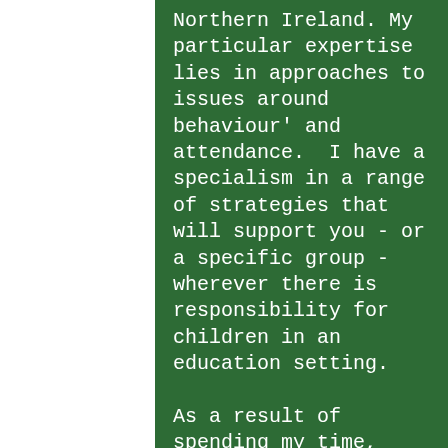Northern Ireland. My particular expertise lies in approaches to issues around behaviour' and attendance.  I have a specialism in a range of strategies that will support you - or a specific group - wherever there is responsibility for children in an education setting.

As a result of spending my time, over the last 20 plus years, working with hundreds of schools as a teacher and behaviour support adviser, across the age range and in a variety of settings, I have never lost sight of the challenges we all face in the day-to-day world of education. Moreover, I often